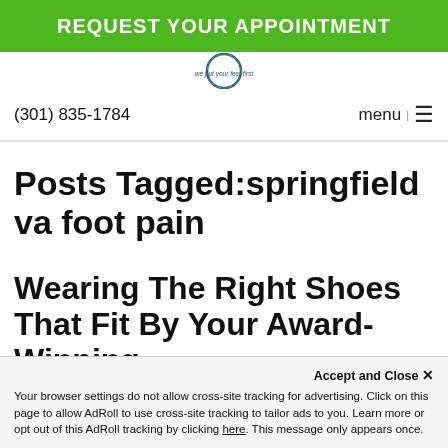REQUEST YOUR APPOINTMENT
[Figure (logo): Circular logo with text 'we put your feet first']
(301) 835-1784  menu |  ≡
Posts Tagged:springfield va foot pain
Wearing The Right Shoes That Fit By Your Award-Winning Springfield, VA Foot Doctor
Accept and Close ✕
Your browser settings do not allow cross-site tracking for advertising. Click on this page to allow AdRoll to use cross-site tracking to tailor ads to you. Learn more or opt out of this AdRoll tracking by clicking here. This message only appears once.